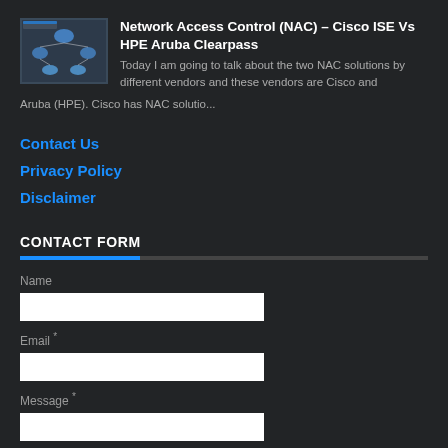[Figure (screenshot): Thumbnail image of a Cisco Identity Services Engine network diagram]
Network Access Control (NAC) – Cisco ISE Vs HPE Aruba Clearpass
Today I am going to talk about the two NAC solutions by different vendors and these vendors are Cisco and Aruba (HPE). Cisco has NAC solutio...
Contact Us
Privacy Policy
Disclaimer
CONTACT FORM
Name
Email *
Message *